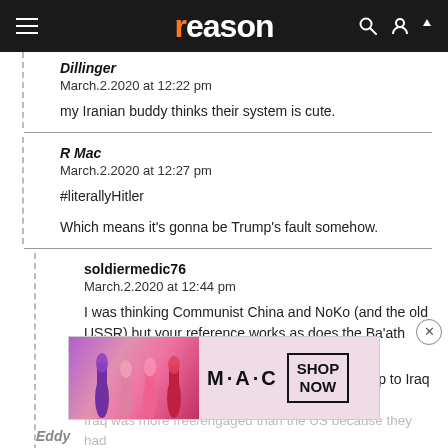reason
Dillinger
March.2.2020 at 12:22 pm

my Iranian buddy thinks their system is cute.
R Mac
March.2.2020 at 12:27 pm

#literallyHitler

Which means it's gonna be Trump's fault somehow.
soldiermedic76
March.2.2020 at 12:44 pm

I was thinking Communist China and NoKo (and the old USSR) but your reference works as does the Ba'ath party in Iraq prior to 200 (in fact I remember reading a story in the lead up to Iraq stating Iraq was more free/engaged than the US because they had some more...
[Figure (screenshot): MAC cosmetics advertisement showing lipsticks with SHOP NOW button]
Eddy